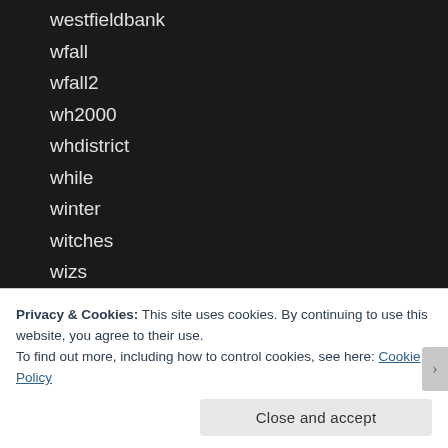westfieldbank
wfall
wfall2
wh2000
whdistrict
while
winter
witches
wizs
wolk
wrestle
wrestlep
xlctf3
Privacy & Cookies: This site uses cookies. By continuing to use this website, you agree to their use.
To find out more, including how to control cookies, see here: Cookie Policy
Close and accept